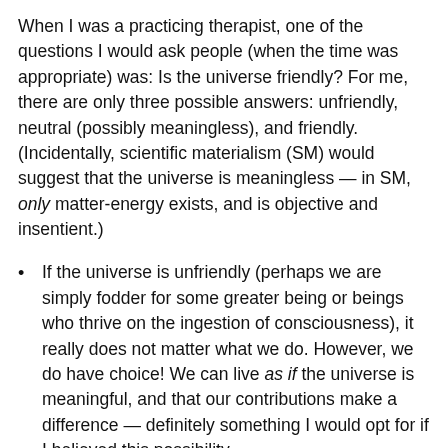When I was a practicing therapist, one of the questions I would ask people (when the time was appropriate) was: Is the universe friendly? For me, there are only three possible answers: unfriendly, neutral (possibly meaningless), and friendly. (Incidentally, scientific materialism (SM) would suggest that the universe is meaningless — in SM, only matter-energy exists, and is objective and insentient.)
If the universe is unfriendly (perhaps we are simply fodder for some greater being or beings who thrive on the ingestion of consciousness), it really does not matter what we do. However, we do have choice! We can live as if the universe is meaningful, and that our contributions make a difference — definitely something I would opt for if I believed this possibility.
If the universe is neutral, especially if it is meaningless (see scientific materialism), the same argument applies. I have choice, and especially I would choose to live in harmony